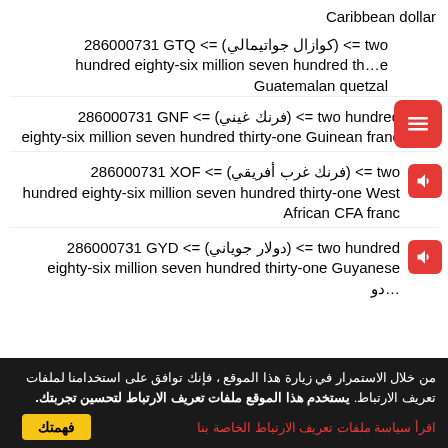Caribbean dollar
286000731 GTQ <= (كوازال جواتيمالي) <= two hundred eighty-six million seven hundred thirty-one Guatemalan quetzal
286000731 GNF <= (فرنك غيني) <= two hundred eighty-six million seven hundred thirty-one Guinean franc
286000731 XOF <= (فرنك غرب أفريقي) <= two hundred eighty-six million seven hundred thirty-one West African CFA franc
286000731 GYD <= (دولار جوياني) <= two hundred eighty-six million seven hundred thirty-one Guyanese dollar
من خلال الاستمرار في زيارة هذا الموقع ، فإنك توافق على استخدامنا لملفات تعريف الارتباط. يستخدم هذا الموقع ملفات تعريف الارتباط لتحسين تجربتك.
اقرأ سياسة ملفات تعريف الارتباط الخاصة بنا
فهمتك